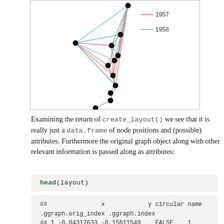[Figure (network-graph): Network graph showing nodes connected by salmon/pink (1957) and teal/cyan (1958) colored edges, with black circular node markers. Legend shows 1957 in pink and 1958 in teal.]
Examining the return of create_layout() we see that it is really just a data.frame of node positions and (possible) attributes. Furthermore the original graph object along with other relevant information is passed along as attributes:
head(layout)
##                x            y circular name
.ggraph.orig_index .ggraph.index
## 1 -0.04317633 -0.15611549    FALSE     1
1              1
## 2 -0.03414457 -0.20843892    FALSE     2
2              2